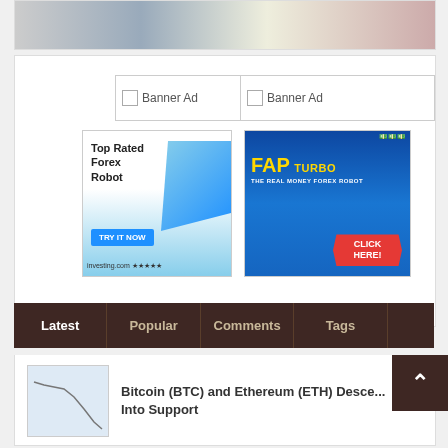[Figure (photo): Partial top banner showing a person at laptop with stacks of money, cropped at top]
[Figure (other): Banner Ad placeholder left]
[Figure (other): Banner Ad placeholder right]
[Figure (other): Top Rated Forex Robot advertisement with TRY IT NOW button and investing.com stars]
[Figure (other): FAP Turbo - The Real Money Forex Robot advertisement with CLICK HERE button]
Latest | Popular | Comments | Tags
[Figure (screenshot): Thumbnail chart showing Bitcoin/Ethereum price decline]
Bitcoin (BTC) and Ethereum (ETH) Desce... Into Support